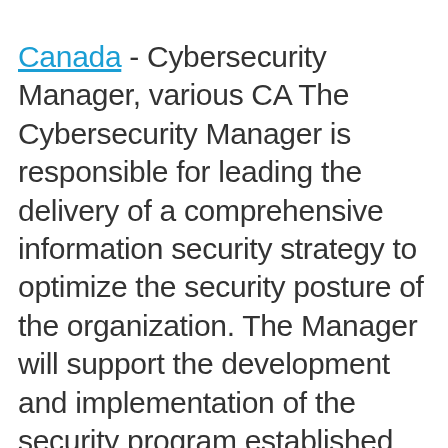Canada - Cybersecurity Manager, various CA The Cybersecurity Manager is responsible for leading the delivery of a comprehensive information security strategy to optimize the security posture of the organization. The Manager will support the development and implementation of the security program established by the Director of Information Security that leverages collaborations and organization-wide resources, facilitates